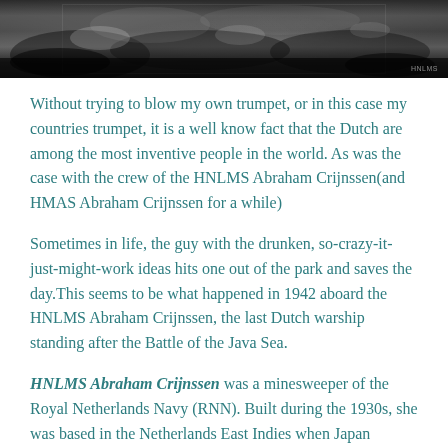[Figure (photo): Black and white photograph strip showing a partially obscured scene, appears to be an old naval or wartime photograph]
Without trying to blow my own trumpet, or in this case my countries trumpet, it is a well know fact that the Dutch are among the most inventive people in the world. As was the case with the crew of the HNLMS Abraham Crijnssen(and HMAS Abraham Crijnssen for a while)
Sometimes in life, the guy with the drunken, so-crazy-it-just-might-work ideas hits one out of the park and saves the day.This seems to be what happened in 1942 aboard the HNLMS Abraham Crijnssen, the last Dutch warship standing after the Battle of the Java Sea.
HNLMS Abraham Crijnssen was a minesweeper of the Royal Netherlands Navy (RNN). Built during the 1930s, she was based in the Netherlands East Indies when Japan attacked at the end of 1941. Ordered to retreat to